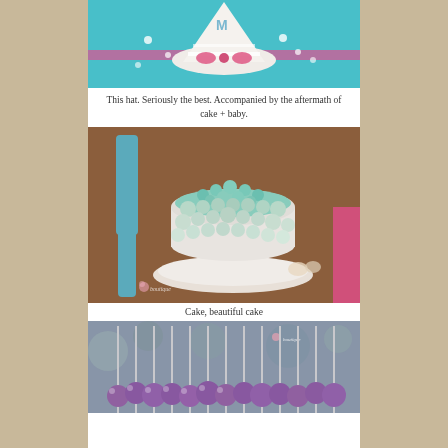[Figure (photo): Close-up photo of a turquoise birthday cake with a white fondant party hat decorated with a pink bow and letter M on top, with white crumbles scattered around]
This hat.  Seriously the best.  Accompanied by the aftermath of cake + baby.
[Figure (photo): Close-up photo of a round smash cake decorated with mint/teal rosette frosting on a white plate, sitting on a blue chair with pink accents in background, with a watermark logo in the corner]
Cake, beautiful cake
[Figure (photo): Photo of purple cake pops arranged in rows with silver sticks pointing upward, with bokeh background]